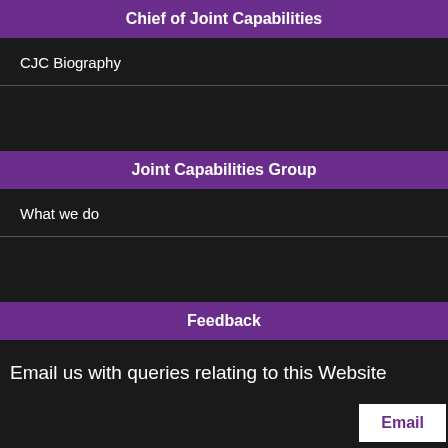Chief of Joint Capabilities
CJC Biography
Joint Capabilities Group
What we do
Feedback
Email us with queries relating to this Website
Email